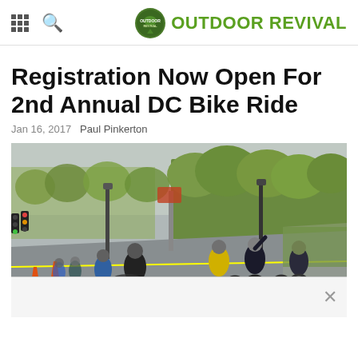OUTDOOR REVIVAL
Registration Now Open For 2nd Annual DC Bike Ride
Jan 16, 2017   Paul Pinkerton
[Figure (photo): Cyclists riding down a city street during the DC Bike Ride event. Multiple riders visible, trees lining the road, orange traffic cones on the left, overcast sky.]